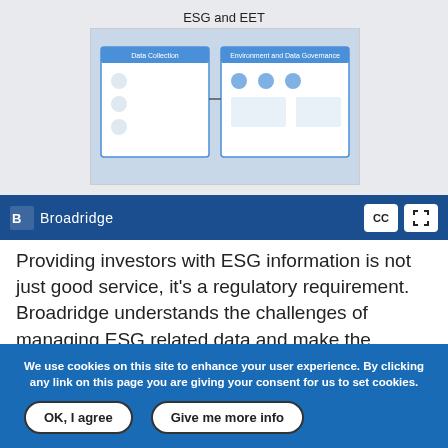[Figure (screenshot): Video thumbnail showing 'ESG and EET' title with a diagram of Data Collection and Environment and Data Governance sections, with a play button overlay, displayed in a Broadridge branded video player with CC and fullscreen controls.]
Providing investors with ESG information is not just good service, it's a regulatory requirement. Broadridge understands the challenges of managing ESG related data and make the process easy, efficient and reliable – from composition to distribution. View this quick overview of their EETs reporting
We use cookies on this site to enhance your user experience. By clicking any link on this page you are giving your consent for us to set cookies.
OK, I agree
Give me more info